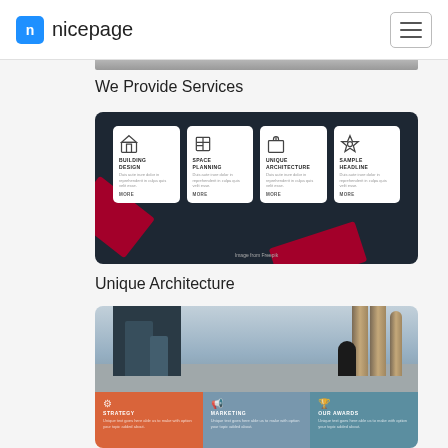nicepage
We Provide Services
[Figure (screenshot): Services section with four white cards on dark background showing Building Design, Space Planning, Unique Architecture, Sample Headline with icons and decorative red accent shapes]
Image from Freepik
Unique Architecture
[Figure (photo): Photo of city buildings and industrial silos with a person silhouette, overlaid with three colored info cards: Strategy (orange), Marketing (blue), Our Awards (teal)]